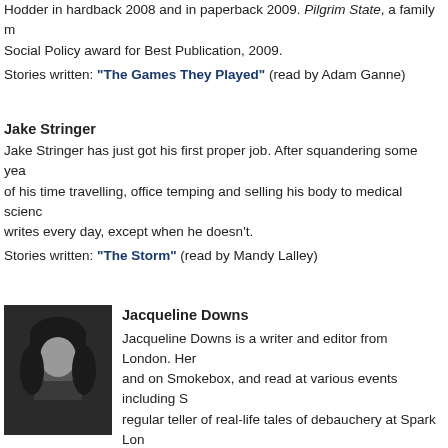Hodder in hardback 2008 and in paperback 2009. Pilgrim State, a family m Social Policy award for Best Publication, 2009.
Stories written: "The Games They Played" (read by Adam Ganne)
Jake Stringer
Jake Stringer has just got his first proper job. After squandering some yea of his time travelling, office temping and selling his body to medical scienc writes every day, except when he doesn't.
Stories written: "The Storm" (read by Mandy Lalley)
Jacqueline Downs
[Figure (photo): Black and white headshot photo of Jacqueline Downs, a woman with dark hair with bangs.]
Jacqueline Downs is a writer and editor from London. Her work has appeared and on Smokebox, and read at various events including S regular teller of real-life tales of debauchery at Spark Lon
Stories written: "The Great Big O" (read by Libby Edwar
James Burt